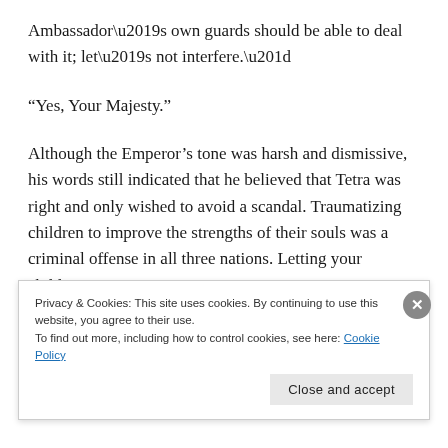Ambassador’s own guards should be able to deal with it; let’s not interfere.”
“Yes, Your Majesty.”
Although the Emperor’s tone was harsh and dismissive, his words still indicated that he believed that Tetra was right and only wished to avoid a scandal. Traumatizing children to improve the strengths of their souls was a criminal offense in all three nations. Letting your children
Privacy & Cookies: This site uses cookies. By continuing to use this website, you agree to their use.
To find out more, including how to control cookies, see here: Cookie Policy
Close and accept